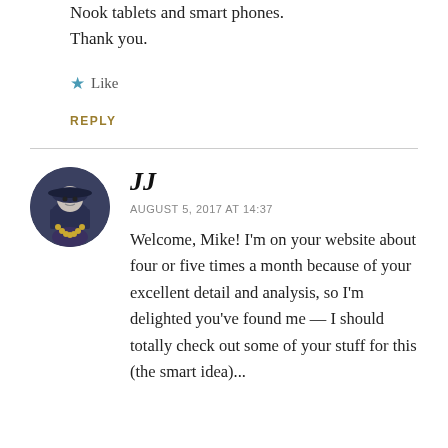Nook tablets and smart phones.
Thank you.
★ Like
REPLY
JJ
AUGUST 5, 2017 AT 14:37
Welcome, Mike! I'm on your website about four or five times a month because of your excellent detail and analysis, so I'm delighted you've found me — I should totally check out some of your stuff for this (the smart idea)...